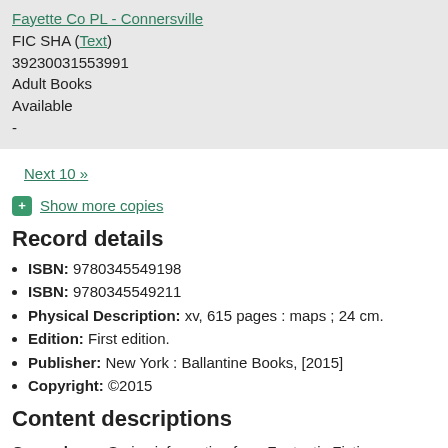Fayette Co PL - Connersville
FIC SHA (Text)
39230031553991
Adult Books
Available
-
Next 10 »
Show more copies
Record details
ISBN: 9780345549198
ISBN: 9780345549211
Physical Description: xv, 615 pages : maps ; 24 cm.
Edition: First edition.
Publisher: New York : Ballantine Books, [2015]
Copyright: ©2015
Content descriptions
General Note: Series information from Fantastic Fiction website.
Summary, etc.: "From New York Times bestselling author Jeff Shaara comes the riveting final installment in the